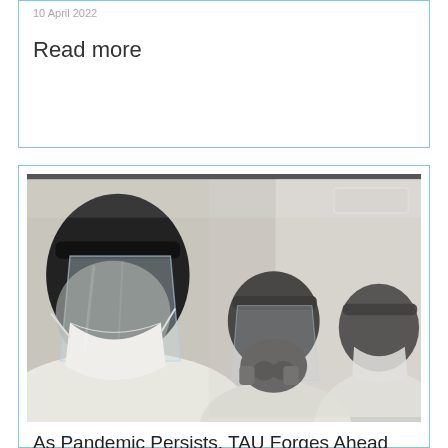10 April 2022
Read more
[Figure (photo): Three medical workers wearing full PPE including face shields, N95 masks, respirators, hair nets, and white protective suits in a clinical or laboratory setting.]
As Pandemic Persists, TAU Forges Ahead with COVID-19 Research on All Fronts
30 December 2021